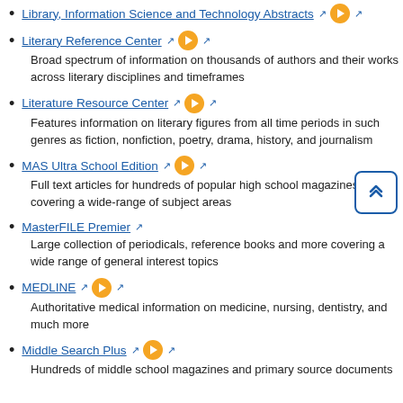Library, Information Science and Technology Abstracts
Literary Reference Center
Broad spectrum of information on thousands of authors and their works across literary disciplines and timeframes
Literature Resource Center
Features information on literary figures from all time periods in such genres as fiction, nonfiction, poetry, drama, history, and journalism
MAS Ultra School Edition
Full text articles for hundreds of popular high school magazines covering a wide-range of subject areas
MasterFILE Premier
Large collection of periodicals, reference books and more covering a wide range of general interest topics
MEDLINE
Authoritative medical information on medicine, nursing, dentistry, and much more
Middle Search Plus
Hundreds of middle school magazines and primary source documents